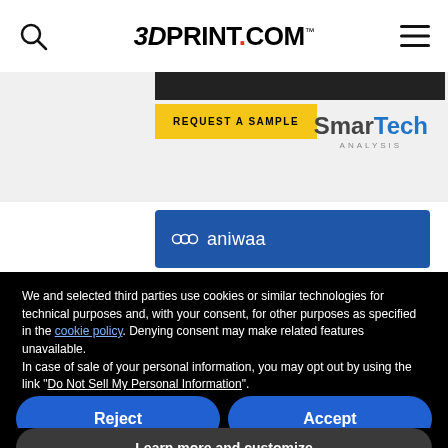3DPRINT.COM™
[Figure (logo): Advertisement strip with REQUEST A SAMPLE button and SmarTech Analysis logo]
[Figure (logo): Aniwaa blue banner with aniwaa logo]
We and selected third parties use cookies or similar technologies for technical purposes and, with your consent, for other purposes as specified in the cookie policy. Denying consent may make related features unavailable. In case of sale of your personal information, you may opt out by using the link "Do Not Sell My Personal Information". To find out more about the categories of personal information collected and the purposes for which such information will be used, please refer to our privacy policy. You can consent to the use of such technologies by using the "Accept" button, by scrolling this page, by interacting with any link or button outside of this notice or by continuing to browse otherwise.
Reject
Accept
Learn more and customize